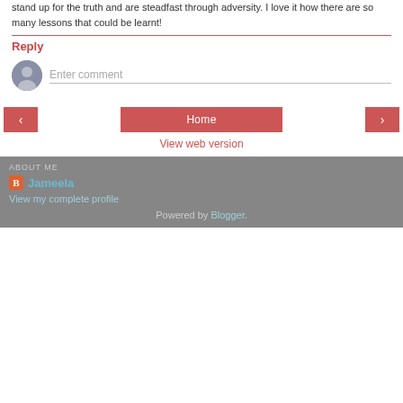stand up for the truth and are steadfast through adversity. I love it how there are so many lessons that could be learnt!
Reply
[Figure (illustration): Default user avatar (gray circle with silhouette)]
Enter comment
‹
Home
›
View web version
ABOUT ME
Jameela
View my complete profile
Powered by Blogger.